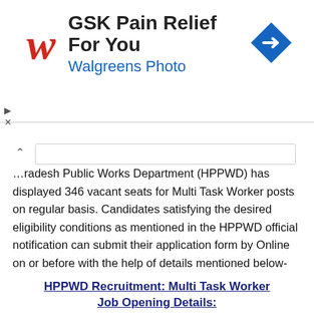[Figure (screenshot): Walgreens/GSK advertisement banner with Walgreens cursive W logo in red, text 'GSK Pain Relief For You' and 'Walgreens Photo' in blue, and a blue diamond navigation icon on the right.]
radesh Public Works Department (HPPWD) has displayed 346 vacant seats for Multi Task Worker posts on regular basis. Candidates satisfying the desired eligibility conditions as mentioned in the HPPWD official notification can submit their application form by Online on or before with the help of details mentioned below-
HPPWD Recruitment: Multi Task Worker Job Opening Details:
|  |  |
| --- | --- |
| Organization Name | Himachal Pradesh Public Works Department |